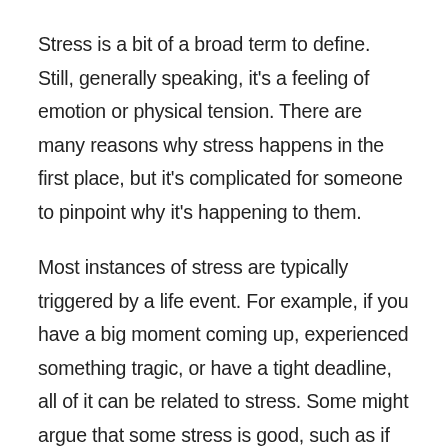Stress is a bit of a broad term to define. Still, generally speaking, it's a feeling of emotion or physical tension. There are many reasons why stress happens in the first place, but it's complicated for someone to pinpoint why it's happening to them.
Most instances of stress are typically triggered by a life event. For example, if you have a big moment coming up, experienced something tragic, or have a tight deadline, all of it can be related to stress. Some might argue that some stress is good, such as if you're waiting to perform a concert, publish a book, or something positive to that degree.